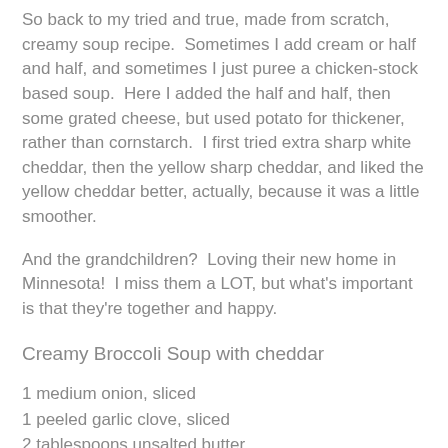So back to my tried and true, made from scratch, creamy soup recipe.  Sometimes I add cream or half and half, and sometimes I just puree a chicken-stock based soup.  Here I added the half and half, then some grated cheese, but used potato for thickener, rather than cornstarch.  I first tried extra sharp white cheddar, then the yellow sharp cheddar, and liked the yellow cheddar better, actually, because it was a little smoother.
And the grandchildren?  Loving their new home in Minnesota!  I miss them a LOT, but what's important is that they're together and happy.
Creamy Broccoli Soup with cheddar
1 medium onion, sliced
1 peeled garlic clove, sliced
2 tablespoons unsalted butter
1 tablespoon mild olive oil
1 stalk sliced celery, leaves and all